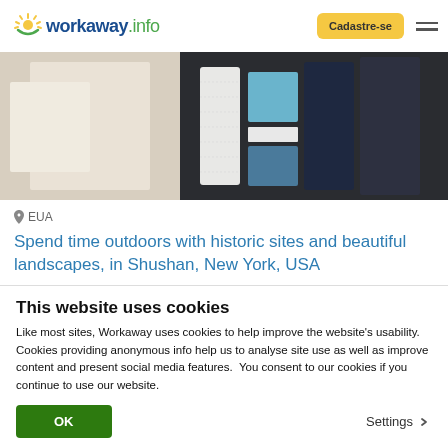workaway.info — Cadastre-se
[Figure (photo): Close-up photo of folded knitted fabrics in white, teal/blue, and dark navy colors]
EUA
Spend time outdoors with historic sites and beautiful landscapes, in Shushan, New York, USA
[Figure (photo): Partial view of next listing photo with blue heart icon]
This website uses cookies
Like most sites, Workaway uses cookies to help improve the website's usability. Cookies providing anonymous info help us to analyse site use as well as improve content and present social media features.  You consent to our cookies if you continue to use our website.
OK
Settings